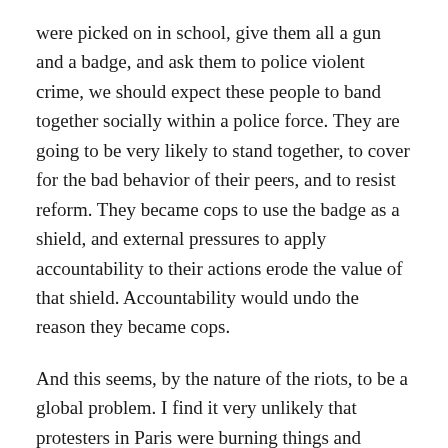were picked on in school, give them all a gun and a badge, and ask them to police violent crime, we should expect these people to band together socially within a police force. They are going to be very likely to stand together, to cover for the bad behavior of their peers, and to resist reform. They became cops to use the badge as a shield, and external pressures to apply accountability to their actions erode the value of that shield. Accountability would undo the reason they became cops.
And this seems, by the nature of the riots, to be a global problem. I find it very unlikely that protesters in Paris were burning things and clashing with Parisian cops to protest what some cops in Minneapolis did. It seems far more likely they’re protesting the behavior of cops there, which implies that same hiring dynamic might